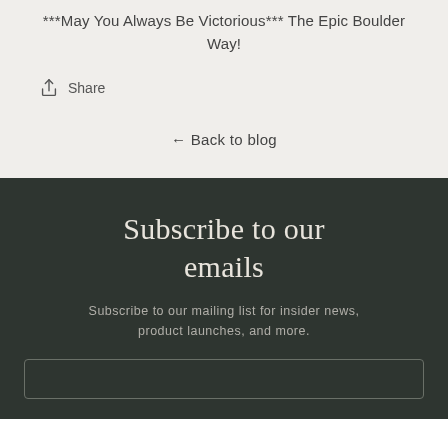***May You Always Be Victorious*** The Epic Boulder Way!
Share
← Back to blog
Subscribe to our emails
Subscribe to our mailing list for insider news, product launches, and more.